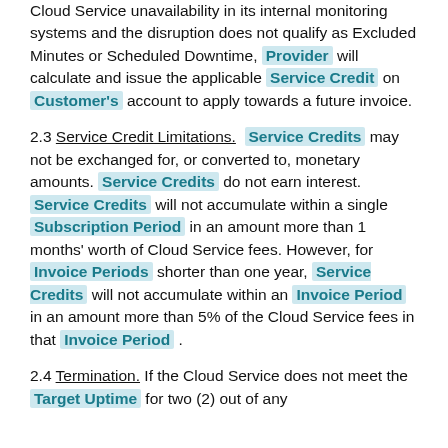Cloud Service unavailability in its internal monitoring systems and the disruption does not qualify as Excluded Minutes or Scheduled Downtime, Provider will calculate and issue the applicable Service Credit on Customer's account to apply towards a future invoice.
2.3 Service Credit Limitations. Service Credits may not be exchanged for, or converted to, monetary amounts. Service Credits do not earn interest. Service Credits will not accumulate within a single Subscription Period in an amount more than 1 months' worth of Cloud Service fees. However, for Invoice Periods shorter than one year, Service Credits will not accumulate within an Invoice Period in an amount more than 5% of the Cloud Service fees in that Invoice Period.
2.4 Termination. If the Cloud Service does not meet the Target Uptime for two (2) out of any